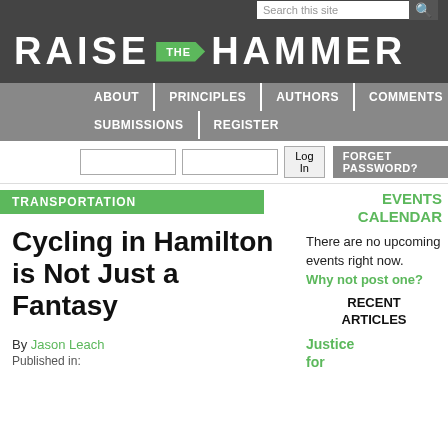RAISE THE HAMMER
TRANSPORTATION
Cycling in Hamilton is Not Just a Fantasy
By Jason Leach
EVENTS CALENDAR
There are no upcoming events right now. Why not post one?
RECENT ARTICLES
Justice for